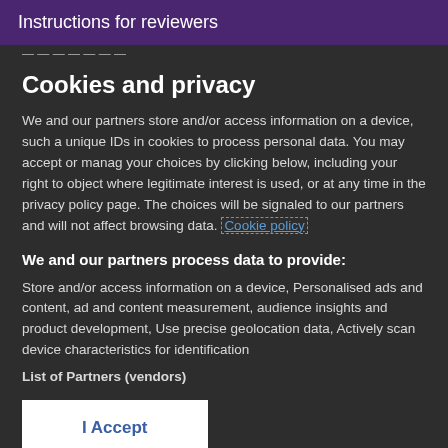Instructions for reviewers
Cookies and privacy
We and our partners store and/or access information on a device, such as unique IDs in cookies to process personal data. You may accept or manage your choices by clicking below, including your right to object where legitimate interest is used, or at any time in the privacy policy page. These choices will be signaled to our partners and will not affect browsing data. Cookie policy
We and our partners process data to provide:
Store and/or access information on a device, Personalised ads and content, ad and content measurement, audience insights and product development, Use precise geolocation data, Actively scan device characteristics for identification
List of Partners (vendors)
I Accept